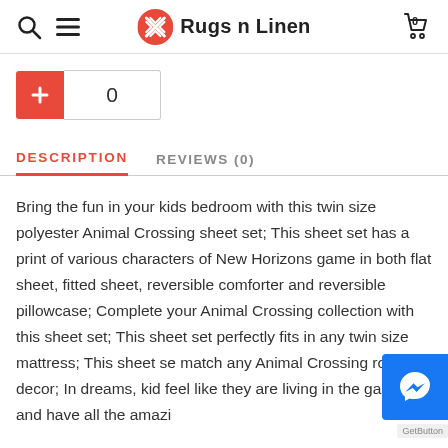Rugs n Linen
0
DESCRIPTION   REVIEWS (0)
Bring the fun in your kids bedroom with this twin size polyester Animal Crossing sheet set; This sheet set has a print of various characters of New Horizons game in both flat sheet, fitted sheet, reversible comforter and reversible pillowcase; Complete your Animal Crossing collection with this sheet set; This sheet set perfectly fits in any twin size mattress; This sheet se match any Animal Crossing room decor; In dreams, kid feel like they are living in the game and have all the amazi